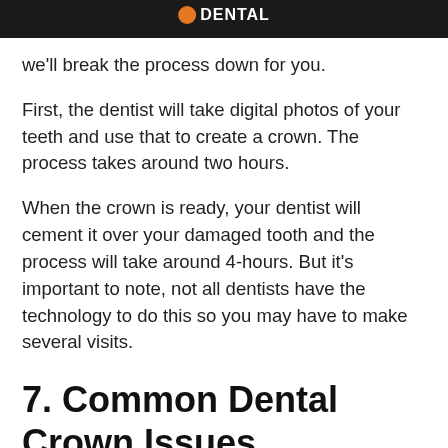we'll break the process down for you.
First, the dentist will take digital photos of your teeth and use that to create a crown. The process takes around two hours.
When the crown is ready, your dentist will cement it over your damaged tooth and the process will take around 4-hours. But it's important to note, not all dentists have the technology to do this so you may have to make several visits.
7. Common Dental Crown Issues